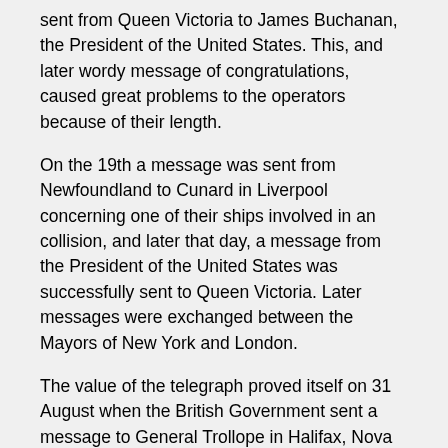sent from Queen Victoria to James Buchanan, the President of the United States. This, and later wordy message of congratulations, caused great problems to the operators because of their length.
On the 19th a message was sent from Newfoundland to Cunard in Liverpool concerning one of their ships involved in an collision, and later that day, a message from the President of the United States was successfully sent to Queen Victoria. Later messages were exchanged between the Mayors of New York and London.
The value of the telegraph proved itself on 31 August when the British Government sent a message to General Trollope in Halifax, Nova Scotia, to the effect that a regiment of the British army was not to return to Britain. It was estimated that this saved the government £50,000 in shipment and transportation of troops.
In both countries there were great celebrations over the success of the cable laying and the establishment of